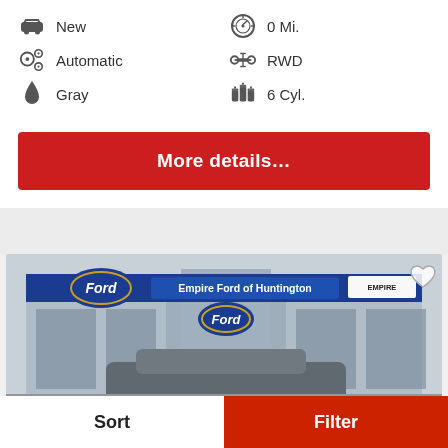New
0 Mi.
Automatic
RWD
Gray
6 Cyl.
More details…
[Figure (photo): Empire Ford of Huntington dealership exterior photo showing Ford logo banners and a car in the foreground]
Sort
Filter